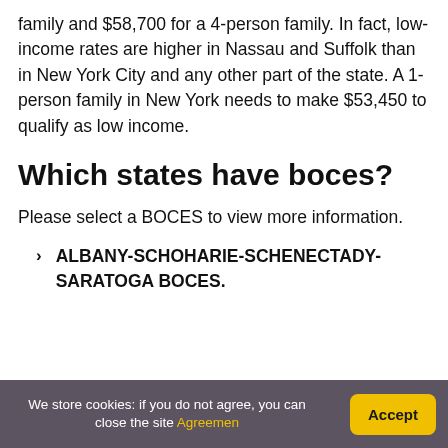family and $58,700 for a 4-person family. In fact, low-income rates are higher in Nassau and Suffolk than in New York City and any other part of the state. A 1-person family in New York needs to make $53,450 to qualify as low income.
Which states have boces?
Please select a BOCES to view more information.
ALBANY-SCHOHARIE-SCHENECTADY-SARATOGA BOCES.
We store cookies: if you do not agree, you can close the site Agreement